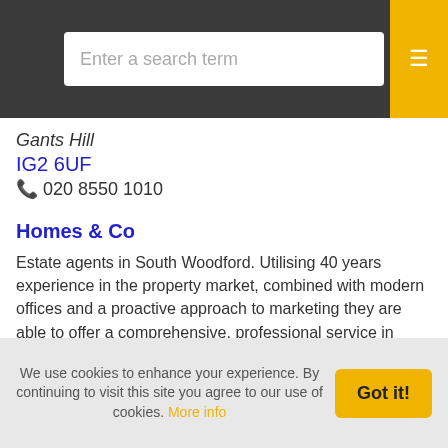Enter a search term
Gants Hill
IG2 6UF
020 8550 1010
Homes & Co
Estate agents in South Woodford. Utilising 40 years experience in the property market, combined with modern offices and a proactive approach to marketing they are able to offer a comprehensive, professional service in residential sales.
South Woodford
E18 2PA
020 8504 8844
We use cookies to enhance your experience. By continuing to visit this site you agree to our use of cookies. More info